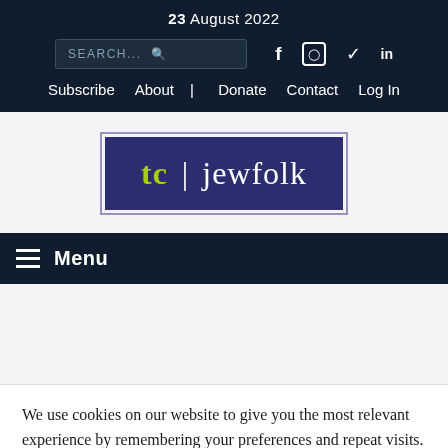23 August 2022
SEARCH... [search icon] [facebook] [instagram] [twitter] [linkedin]
Subscribe  About  Donate  Contact  Log In
[Figure (logo): tc | jewfolk logo — dark navy/purple rectangular logo with 'tc' in green and 'jewfolk' in white text, separated by a vertical bar]
≡ Menu
We use cookies on our website to give you the most relevant experience by remembering your preferences and repeat visits. By clicking "Accept All", you consent to